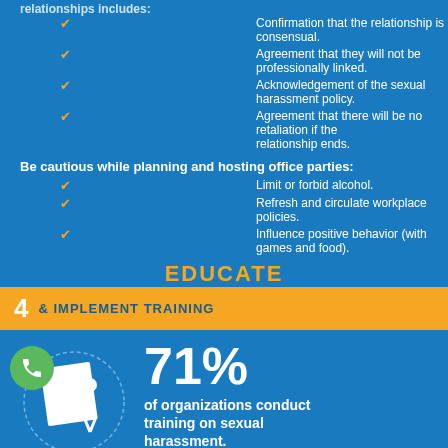relationships includes:
Confirmation that the relationship is consensual.
Agreement that they will not be professionally linked.
Acknowledgement of the sexual harassment policy.
Agreement that there will be no retaliation if the relationship ends.
Be cautious while planning and hosting office parties:
Limit or forbid alcohol.
Refresh and circulate workplace policies.
Influence positive behavior (with games and food).
EDUCATE
4  & IMPLEMENT TRAINING
[Figure (infographic): Illustration of a person presenting in front of a board, inside a circular dotted border]
71% of organizations conduct training on sexual harassment.
(Association for Talent Development online survey)
Make training more than just annual seminars. Training can help employees be:
More aware of their own behavior.
Better equipped to detect incidents.